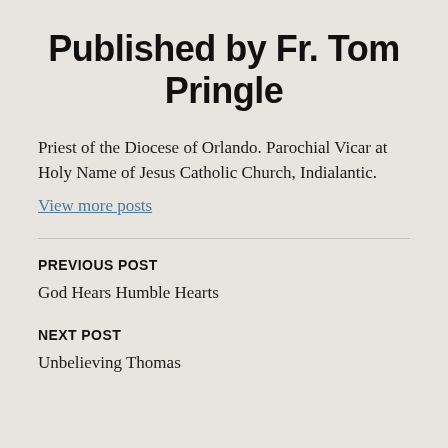Published by Fr. Tom Pringle
Priest of the Diocese of Orlando. Parochial Vicar at Holy Name of Jesus Catholic Church, Indialantic.
View more posts
PREVIOUS POST
God Hears Humble Hearts
NEXT POST
Unbelieving Thomas